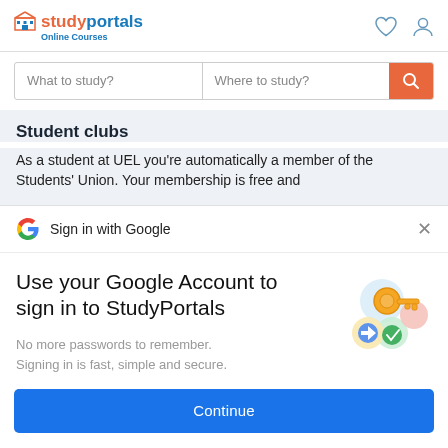studyportals Online Courses
What to study?  Where to study?
Student clubs
As a student at UEL you’re automatically a member of the Students’ Union. Your membership is free and
Sign in with Google
Use your Google Account to sign in to StudyPortals
No more passwords to remember.
Signing in is fast, simple and secure.
[Figure (illustration): Google account illustration with a golden key and colorful circular icons]
Continue